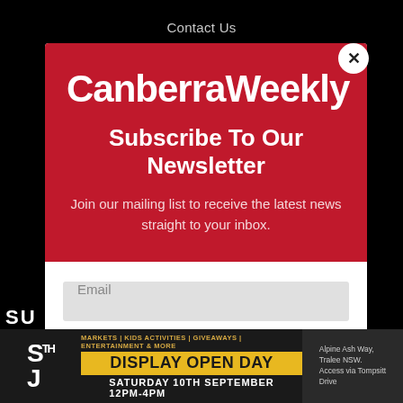Contact Us
CanberraWeekly
Subscribe To Our Newsletter
Join our mailing list to receive the latest news straight to your inbox.
Email
SUBSCRIBE!
[Figure (infographic): Advertisement banner: STH J logo with text 'MARKETS | KIDS ACTIVITIES | GIVEAWAYS | ENTERTAINMENT & MORE', 'DISPLAY OPEN DAY', 'SATURDAY 10TH SEPTEMBER 12PM-4PM', 'Alpine Ash Way, Tralee NSW. Access via Tompsitt Drive']